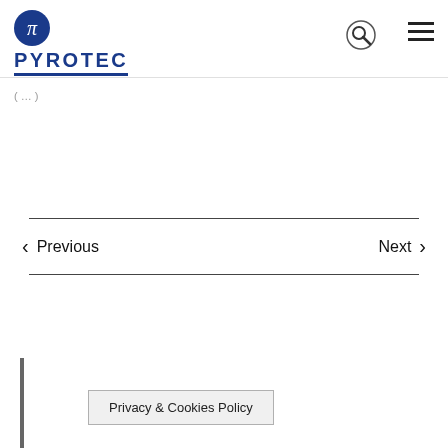PYROTEC
Previous   Next
Privacy & Cookies Policy